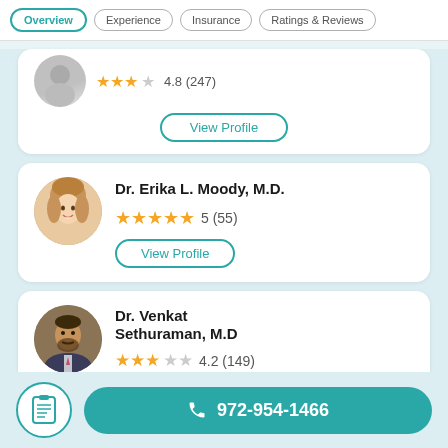Overview | Experience | Insurance | Ratings & Reviews
4.8 (247)
View Profile
Dr. Erika L. Moody, M.D.
5 (55)
View Profile
Dr. Venkat Sethuraman, M.D
4.2 (149)
972-954-1466